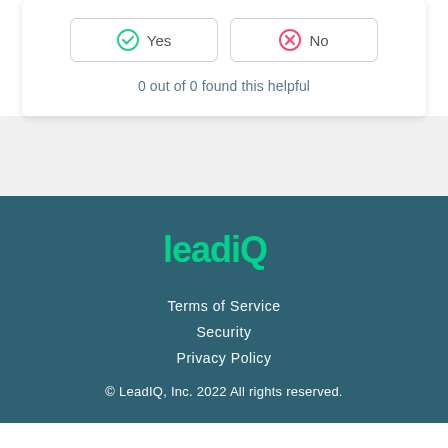[Figure (other): Yes and No feedback buttons. Yes button has a green checkmark icon, No button has a red X icon. Both are outlined with rounded rectangle borders.]
0 out of 0 found this helpful
[Figure (logo): leadiQ logo in green color on dark teal background]
Terms of Service
Security
Privacy Policy
© LeadIQ, Inc. 2022 All rights reserved.